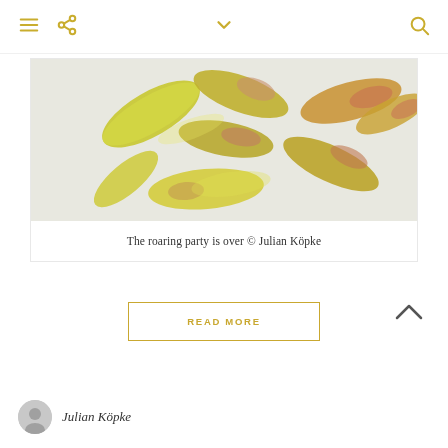Navigation icons: menu, share, chevron-down, search
[Figure (photo): Close-up photo of scattered yellow and pink-tipped flower petals on a light grey/white background]
The roaring party is over © Julian Köpke
READ MORE
Julian Köpke